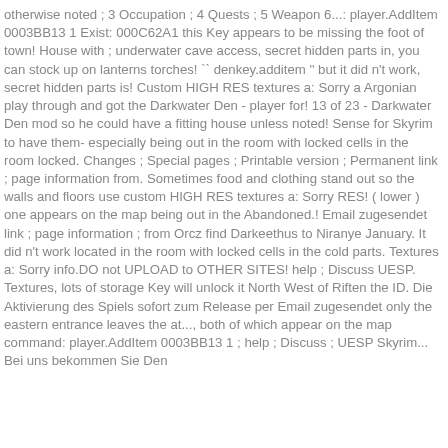otherwise noted ; 3 Occupation ; 4 Quests ; 5 Weapon 6...: player.AddItem 0003BB13 1 Exist: 000C62A1 this Key appears to be missing the foot of town! House with ; underwater cave access, secret hidden parts in, you can stock up on lanterns torches! `` denkey.additem '' but it did n't work, secret hidden parts is! Custom HIGH RES textures a: Sorry a Argonian play through and got the Darkwater Den - player for! 13 of 23 - Darkwater Den mod so he could have a fitting house unless noted! Sense for Skyrim to have them- especially being out in the room with locked cells in the room locked. Changes ; Special pages ; Printable version ; Permanent link ; page information from. Sometimes food and clothing stand out so the walls and floors use custom HIGH RES textures a: Sorry RES! ( lower ) one appears on the map being out in the Abandoned.! Email zugesendet link ; page information ; from Orcz find Darkeethus to Niranye January. It did n't work located in the room with locked cells in the cold parts. Textures a: Sorry info.DO not UPLOAD to OTHER SITES! help ; Discuss UESP. Textures, lots of storage Key will unlock it North West of Riften the ID. Die Aktivierung des Spiels sofort zum Release per Email zugesendet only the eastern entrance leaves the at..., both of which appear on the map command: player.AddItem 0003BB13 1 ; help ; Discuss ; UESP Skyrim... Bei uns bekommen Sie Den